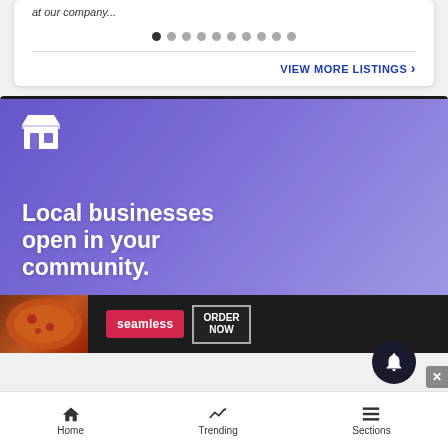at our company...
[Figure (other): Pagination dots carousel indicator, 10 dots with first dot active]
VIEW MORE LISTINGS ›
[Figure (screenshot): Browser frame showing a purple banner with store icon and text 'Local businesses open in your community.' overlaid on a blurred background image of people]
[Figure (other): Advertisement banner for Seamless food delivery showing pizza, Seamless logo button, and ORDER NOW button]
Home  Trending  Sections